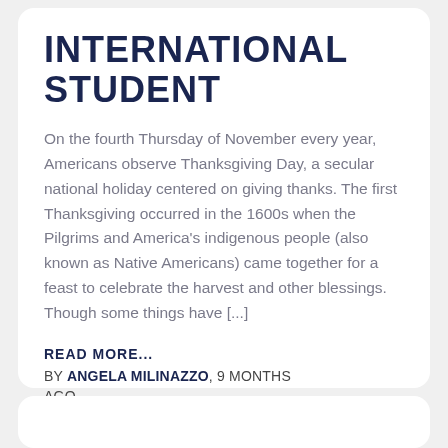INTERNATIONAL STUDENT
On the fourth Thursday of November every year, Americans observe Thanksgiving Day, a secular national holiday centered on giving thanks. The first Thanksgiving occurred in the 1600s when the Pilgrims and America's indigenous people (also known as Native Americans) came together for a feast to celebrate the harvest and other blessings. Though some things have [...]
READ MORE...
By ANGELA MILINAZZO, 9 MONTHS AGO